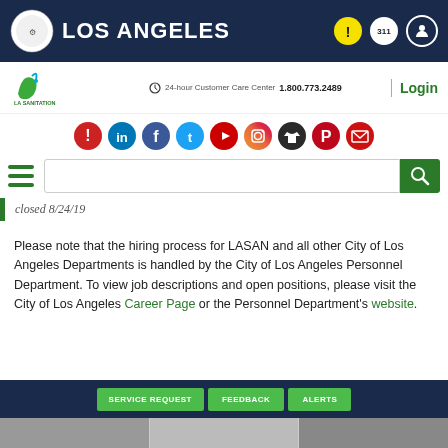LOS ANGELES
[Figure (logo): LA Sanitation logo with leaf/water drop icon]
24-hour Customer Care Center 1.800.773.2489 | Login
[Figure (infographic): Row of social media icons: alert, LinkedIn, Facebook, Twitter, YouTube, Instagram, shirt, Pinterest, email]
Closed 8/24/19
Please note that the hiring process for LASAN and all other City of Los Angeles Departments is handled by the City of Los Angeles Personnel Department. To view job descriptions and open positions, please visit the City of Los Angeles Career Page or the Personnel Department's website.
SERVICE REQUEST   FEEDBACK   ALERTS